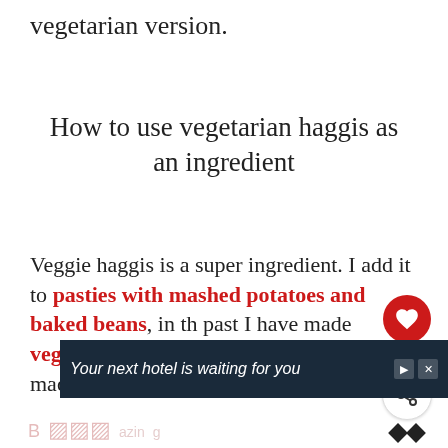vegetarian version.
How to use vegetarian haggis as an ingredient
Veggie haggis is a super ingredient. I add it to pasties with mashed potatoes and baked beans, in the past I have made vegetarian scotch eggs with it, I have made savoury puffs for bonfire nig...
[Figure (other): Social sidebar with heart/like button showing count 3 and a share button]
[Figure (other): What's Next banner showing Vegan Roasted... with a food thumbnail]
[Figure (other): Advertisement banner: Your next hotel is waiting for you]